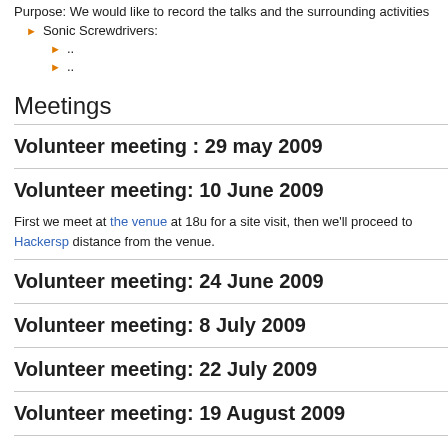Purpose: We would like to record the talks and the surrounding activities
Sonic Screwdrivers:
..
..
Meetings
Volunteer meeting : 29 may 2009
Volunteer meeting: 10 June 2009
First we meet at the venue at 18u for a site visit, then we'll proceed to Hackersp distance from the venue.
Volunteer meeting: 24 June 2009
Volunteer meeting: 8 July 2009
Volunteer meeting: 22 July 2009
Volunteer meeting: 19 August 2009
Teambuilding: 22 August 2009